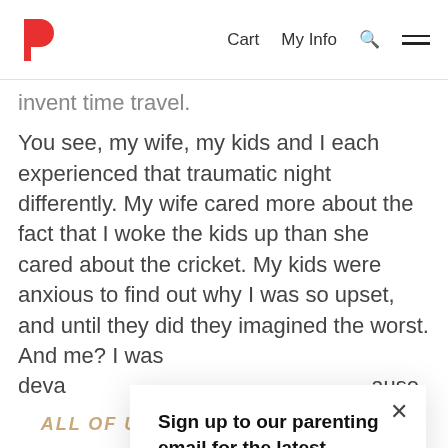P  Cart  My Info  [search]  [menu]
invent time travel.
You see, my wife, my kids and I each experienced that traumatic night differently. My wife cared more about the fact that I woke the kids up than she cared about the cricket. My kids were anxious to find out why I was so upset, and until they did they imagined the worst. And me? I was deva…ause cow…of leath…
Sign up to our parenting email for the latest articles and tips direct to your inbox.
Sign up
ALL OF US PERCEIVE THE EVENTS